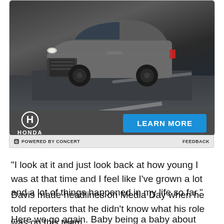[Figure (photo): Honda advertisement showing a dark gray Honda CR-V SUV on a road, with the Honda logo and a blue 'LEARN MORE' button on a dark background]
POWERED BY CONCERT    FEEDBACK
"I look at it and just look back at how young I was at that time and I feel like I've grown a lot and a lot of things happened in my life so far."
Davis made headlines on Media Day when he told reporters that he didn't know what his role was on this team.
Here we go again. Baby being a baby about